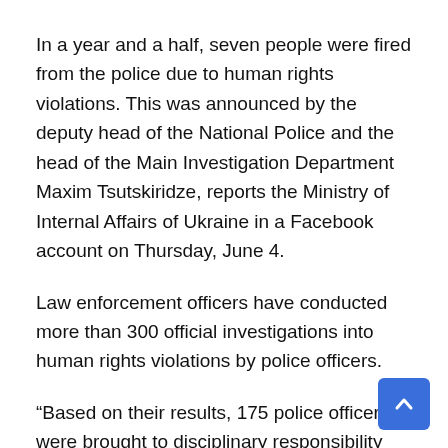In a year and a half, seven people were fired from the police due to human rights violations. This was announced by the deputy head of the National Police and the head of the Main Investigation Department Maxim Tsutskiridze, reports the Ministry of Internal Affairs of Ukraine in a Facebook account on Thursday, June 4.
Law enforcement officers have conducted more than 300 official investigations into human rights violations by police officers.
“Based on their results, 175 police officers were brought to disciplinary responsibility (62 — reprimand, 18 — severe reprimand, 76 — remarks, 12 — warning about incomplete